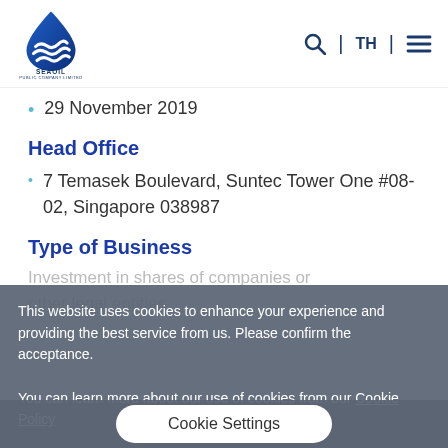[Figure (logo): SEAOIL Public Company Limited logo — blue water drop shape with white wave lines, text 'SEAOIL PUBLIC COMPANY LIMITED' below]
29 November 2019
Head Office
7 Temasek Boulevard, Suntec Tower One #08-02, Singapore 038987
Type of Business
Investment in shares of companies or other legal entities
This website uses cookies to enhance your experience and providing the best service from us. Please confirm the acceptance. You can learn more about our use of cookies from our Cookie Policy
Cookie Settings